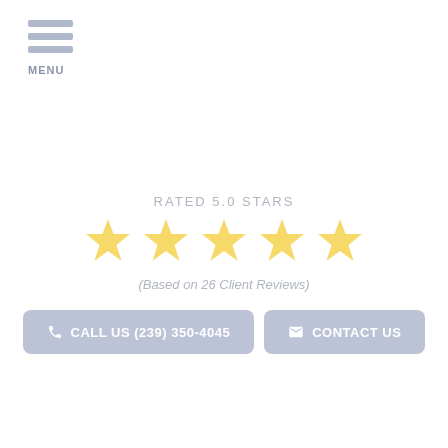MENU
RATED 5.0 STARS
[Figure (infographic): Five gold stars rating display]
(Based on 26 Client Reviews)
CALL US (239) 350-4045
CONTACT US